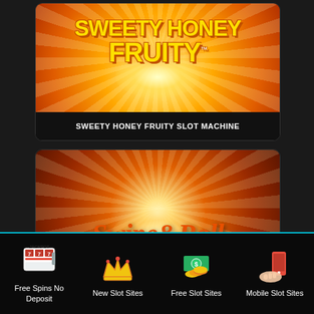[Figure (screenshot): Sweety Honey Fruity slot machine game logo on orange radial burst background]
SWEETY HONEY FRUITY SLOT MACHINE
[Figure (screenshot): Swipe & Roll slot machine game logo in italic script on dark orange radial burst background]
Free Spins No Deposit | New Slot Sites | Free Slot Sites | Mobile Slot Sites